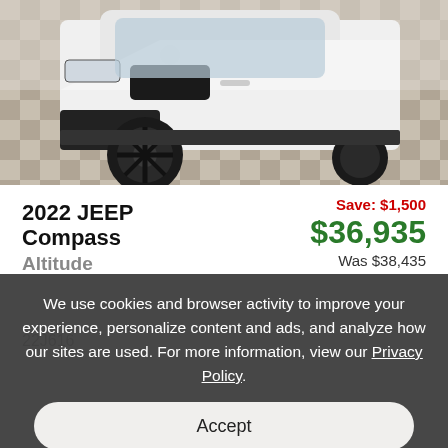[Figure (photo): Front view of a white 2022 Jeep Compass Altitude on a checkered tile floor in a dealership showroom. The front bumper, grille with Jeep logo, and black wheel are visible.]
2022 JEEP Compass Altitude
Save: $1,500
$36,935
Was $38,435
22J616
We use cookies and browser activity to improve your experience, personalize content and ads, and analyze how our sites are used. For more information, view our Privacy Policy.
Accept